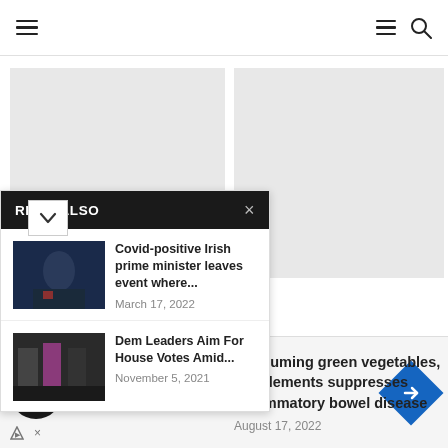Navigation bar with hamburger menu and search icon
READ ALSO
[Figure (photo): Photo of Irish prime minister in dark suit]
Covid-positive Irish prime minister leaves event where...
March 17, 2022
[Figure (photo): Photo of Dem leaders in masks]
Dem Leaders Aim For House Votes Amid...
November 5, 2021
Consuming green vegetables, supplements suppresses inflammatory bowel disease
August 17, 2022
[Figure (screenshot): Ad banner showing In-store shopping with logo and navigation arrow]